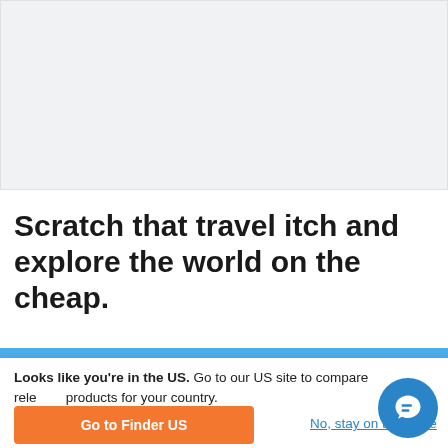[Figure (other): Gray placeholder box area at top of page]
Scratch that travel itch and explore the world on the cheap.
Looks like you're in the US. Go to our US site to compare relevant products for your country.
Go to Finder US
No, stay on this page